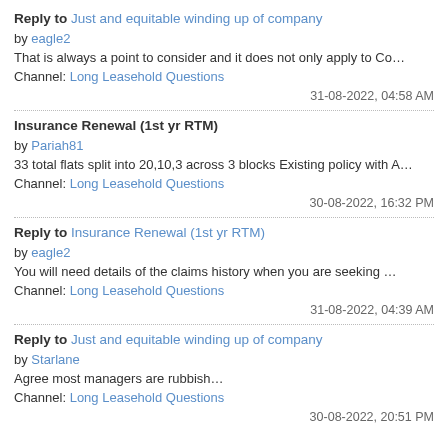Reply to Just and equitable winding up of company by eagle2
That is always a point to consider and it does not only apply to Co...
Channel: Long Leasehold Questions
31-08-2022, 04:58 AM
Insurance Renewal (1st yr RTM) by Pariah81
33 total flats split into 20,10,3 across 3 blocks Existing policy with A...
Channel: Long Leasehold Questions
30-08-2022, 16:32 PM
Reply to Insurance Renewal (1st yr RTM) by eagle2
You will need details of the claims history when you are seeking ...
Channel: Long Leasehold Questions
31-08-2022, 04:39 AM
Reply to Just and equitable winding up of company by Starlane
Agree most managers are rubbish...
Channel: Long Leasehold Questions
30-08-2022, 20:51 PM